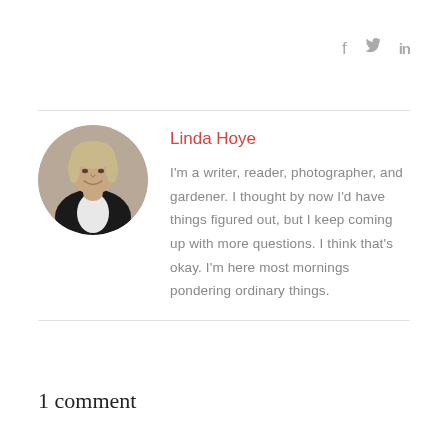[Figure (other): Social media icons: Facebook (f), Twitter bird icon, LinkedIn (in) in gray]
[Figure (photo): Circular profile photo of Linda Hoye, a woman with short blond/grey hair wearing a dark blazer]
Linda Hoye
I'm a writer, reader, photographer, and gardener. I thought by now I'd have things figured out, but I keep coming up with more questions. I think that's okay. I'm here most mornings pondering ordinary things.
1 comment